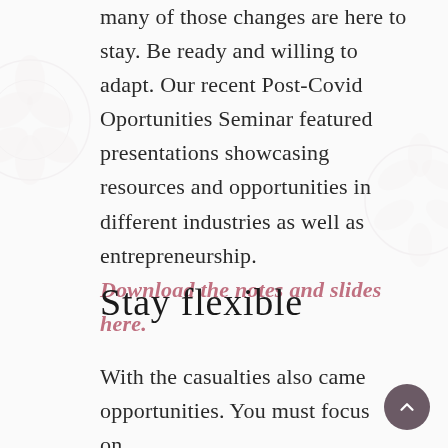many of those changes are here to stay. Be ready and willing to adapt. Our recent Post-Covid Oportunities Seminar featured presentations showcasing resources and opportunities in different industries as well as entrepreneurship. Download the notes and slides here.
Stay flexible
With the casualties also came opportunities. You must focus on